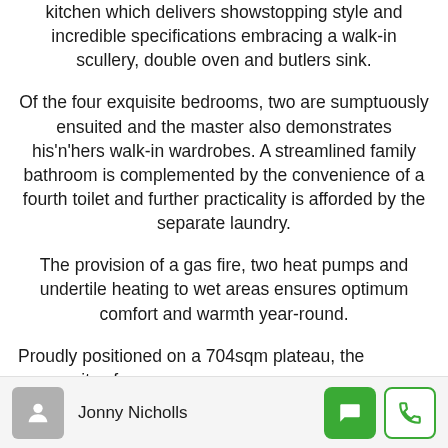kitchen which delivers showstopping style and incredible specifications embracing a walk-in scullery, double oven and butlers sink.
Of the four exquisite bedrooms, two are sumptuously ensuited and the master also demonstrates his'n'hers walk-in wardrobes. A streamlined family bathroom is complemented by the convenience of a fourth toilet and further practicality is afforded by the separate laundry.
The provision of a gas fire, two heat pumps and undertile heating to wet areas ensures optimum comfort and warmth year-round.
Proudly positioned on a 704sqm plateau, the generosity of
Jonny Nicholls